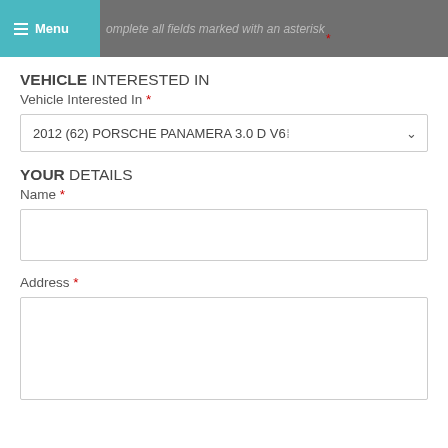Menu  complete all fields marked with an asterisk *
VEHICLE INTERESTED IN
Vehicle Interested In *
2012 (62) PORSCHE PANAMERA 3.0 D V6
YOUR DETAILS
Name *
Address *